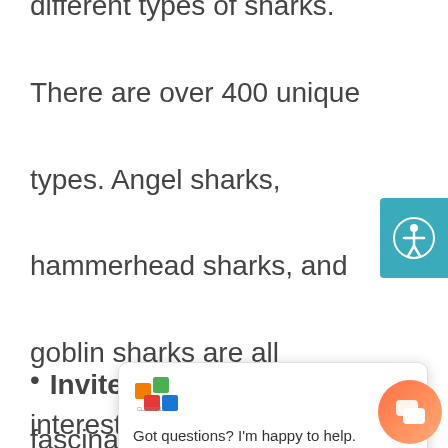different types of sharks. There are over 400 unique types. Angel sharks, hammerhead sharks, and goblin sharks are all fascinating creatures that spark children's imagination.
Invite children to explore their interest in the world of sharks. Of course, you can show them...
[Figure (logo): Colorful cube logo with orange, green, red colors]
Got questions? I'm happy to help.